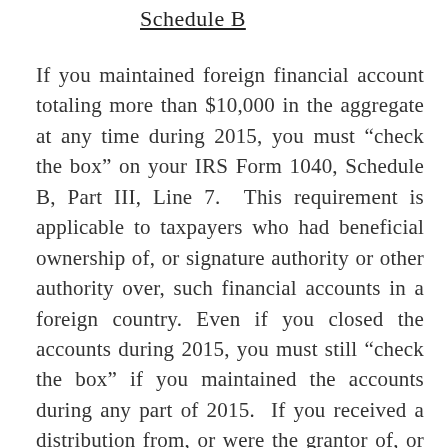Schedule B
If you maintained foreign financial account totaling more than $10,000 in the aggregate at any time during 2015, you must “check the box” on your IRS Form 1040, Schedule B, Part III, Line 7.  This requirement is applicable to taxpayers who had beneficial ownership of, or signature authority or other authority over, such financial accounts in a foreign country.  Even if you closed the accounts during 2015, you must still “check the box” if you maintained the accounts during any part of 2015.  If you received a distribution from, or were the grantor of, or a transferor to, a foreign trust or foreign foundation, you must